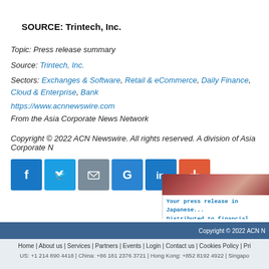SOURCE: Trintech, Inc.
Topic: Press release summary
Source: Trintech, Inc.
Sectors: Exchanges & Software, Retail & eCommerce, Daily Finance, Cloud & Enterprise, Bank...
https://www.acnnewswire.com
From the Asia Corporate News Network
Copyright © 2022 ACN Newswire. All rights reserved. A division of Asia Corporate N...
[Figure (infographic): Row of social sharing icons: Facebook (blue), Twitter (blue), Email (grey), Google (blue), LinkedIn (blue), More/Plus (orange-red)]
[Figure (infographic): Banner advertisement: city skyline image in red tones, with text 'Your press release in Japanese... Distributed to financial terminals, media & internet.']
Copyright © 2022 ACN N... | Home | About us | Services | Partners | Events | Login | Contact us | Cookies Policy | Pri... | US: +1 214 890 4418 | China: +86 181 2376 3721 | Hong Kong: +852 8192 4922 | Singapo...